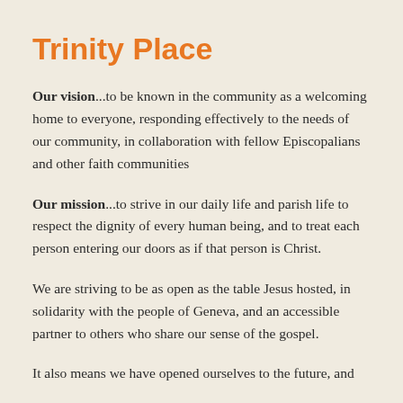Trinity Place
Our vision...to be known in the community as a welcoming home to everyone, responding effectively to the needs of our community, in collaboration with fellow Episcopalians and other faith communities
Our mission...to strive in our daily life and parish life to respect the dignity of every human being, and to treat each person entering our doors as if that person is Christ.
We are striving to be as open as the table Jesus hosted, in solidarity with the people of Geneva, and an accessible partner to others who share our sense of the gospel.
It also means we have opened ourselves to the future, and